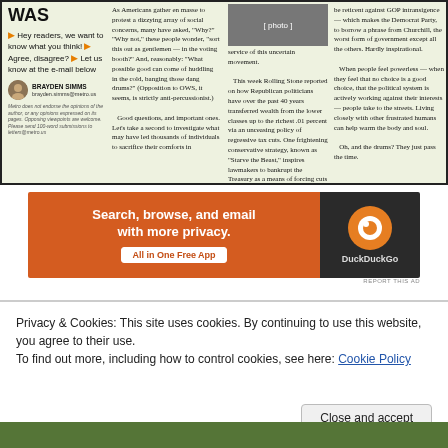WAS
Hey readers, we want to know what you think! Agree, disagree? Let us know at the e-mail below
BRAYDEN SIMMS
brayden.simms@metro.us
Metro does not endorse the opinions of the author, or any opinions expressed on its pages. Opposing viewpoints are welcome. Please send 100-word submissions to letters@metro.us
As Americans gather en masse to protest a dizzying array of social concerns, many have asked, "Why?" "Why not," these people wonder, "sort this out as gentlemen — in the voting booth?" And, reasonably: "What possible good can come of huddling in the cold, banging those dang drums?" (Opposition to OWS, it seems, is strictly anti-percussionist.) Good questions, and important ones. Let's take a second to investigate what may have led thousands of individuals to sacrifice their comforts in
service of this uncertain movement. This week Rolling Stone reported on how Republican politicians have over the past 40 years transferred wealth from the lower classes up to the richest .01 percent via an unceasing policy of regressive tax cuts. One frightening conservative strategy, known as "Starve the Beast," inspires lawmakers to bankrupt the Treasury as a means of forcing cuts to otherwise-
be reticent against GOP intransigence — which makes the Democrat Party, to borrow a phrase from Churchill, the worst form of government except all the others. Hardly inspirational. When people feel powerless — when they feel that no choice is a good choice, that the political system is actively working against their interests — people take to the streets. Living closely with other frustrated humans can help warm the body and soul. Oh, and the drums? They just pass the time.
[Figure (photo): Protesters at OWS gathering]
[Figure (infographic): DuckDuckGo advertisement banner — Search, browse, and email with more privacy. All in One Free App.]
REPORT THIS AD
Privacy & Cookies: This site uses cookies. By continuing to use this website, you agree to their use.
To find out more, including how to control cookies, see here: Cookie Policy
Close and accept
[Figure (photo): Bottom image strip showing crowd/protest scene]